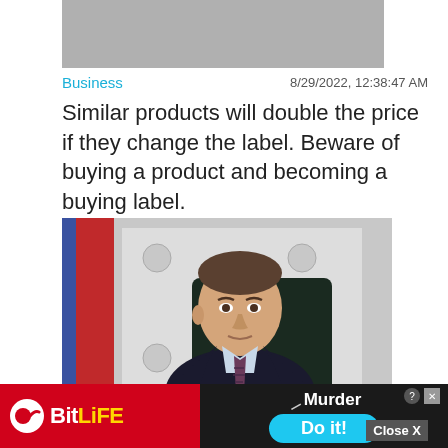[Figure (photo): Gray placeholder image at top of news feed]
Business   8/29/2022, 12:38:47 AM
Similar products will double the price if they change the label. Beware of buying a product and becoming a buying label.
[Figure (photo): Man in dark suit with striped tie seated at desk, red flag in background, official-looking setting]
Business   8/28/2022, 11:14:31 AM
Medvedev predicted an increase in ga...
Close X
[Figure (other): BitLife mobile game advertisement with Murder / Do it! call to action]